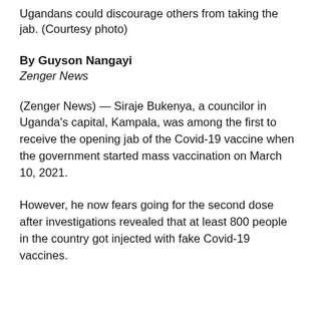Ugandans could discourage others from taking the jab. (Courtesy photo)
By Guyson Nangayi
Zenger News
(Zenger News) — Siraje Bukenya, a councilor in Uganda's capital, Kampala, was among the first to receive the opening jab of the Covid-19 vaccine when the government started mass vaccination on March 10, 2021.
However, he now fears going for the second dose after investigations revealed that at least 800 people in the country got injected with fake Covid-19 vaccines.